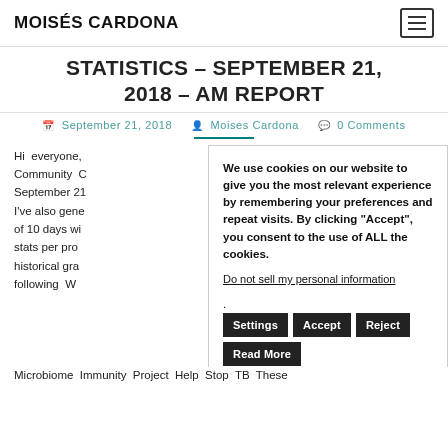MOISÉS CARDONA
STATISTICS – SEPTEMBER 21, 2018 – AM REPORT
September 21, 2018  Moises Cardona  0 Comments
Hi everyone, Community C September 21 I've also gene of 10 days wi stats per pro historical gra following W Microbiome Immunity Project Help Stop TB These
We use cookies on our website to give you the most relevant experience by remembering your preferences and repeat visits. By clicking "Accept", you consent to the use of ALL the cookies. Do not sell my personal information. Settings Accept Reject Read More